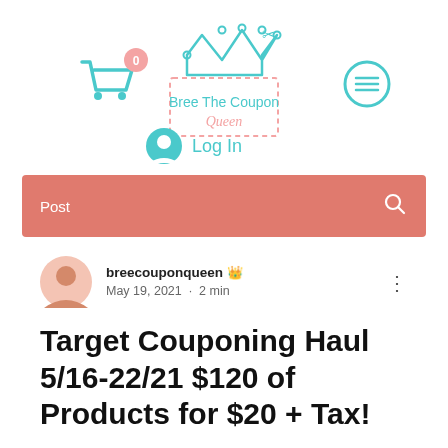[Figure (logo): Bree The Coupon Queen logo with crown, scissors, shopping cart with badge 0, and hamburger menu circle icon]
[Figure (other): Log In button with user avatar icon in teal]
Post
breecouponqueen  Admin
May 19, 2021 · 2 min
Target Couponing Haul 5/16-22/21 $120 of Products for $20 + Tax!